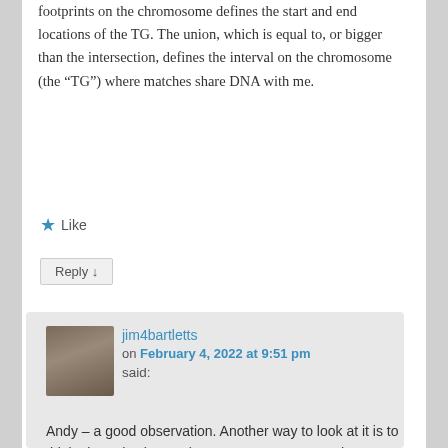footprints on the chromosome defines the start and end locations of the TG. The union, which is equal to, or bigger than the intersection, defines the interval on the chromosome (the “TG”) where matches share DNA with me.
★ Like
Reply ↓
jim4bartletts on February 4, 2022 at 9:51 pm said:
Andy – a good observation. Another way to look at it is to think about the (approx) 34 new crossovers each generation for each side. These 34 crossover points between grandparent segments (on each side) are permanent start or end points for TGs. Another generation back, there are already